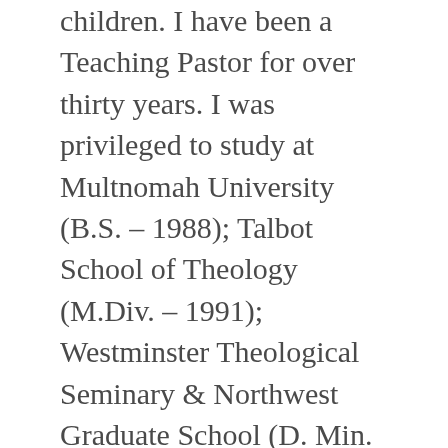children. I have been a Teaching Pastor for over thirty years. I was privileged to study at Multnomah University (B.S. – 1988); Talbot School of Theology (M.Div. – 1991); Westminster Theological Seminary & Northwest Graduate School (D. Min. – 2003). I founded Vertical Living Ministries in 2008 with the goal of encouraging Christian